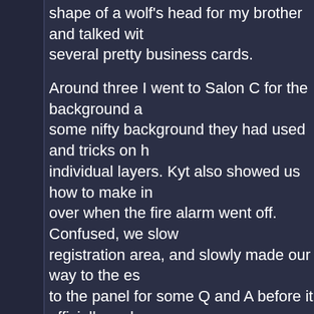shape of a wolf's head for my brother and talked with several pretty business cards.
Around three I went to Salon C for the background a some nifty background they had used and tricks on h individual layers. Kyt also showed us how to make in over when the fire alarm went off. Confused, we slow registration area, and slowly made our way to the es to the panel for some Q and A before it officially ende
Next up was the SLG panel. Dan Vado made a good comic would not involve the movie. We got to see so the Wonderland and Tron comics, followed by the no Comic.
Revel and I took a dinner break and met up with Gre with….*there goes my memory…I am getting old* We Gregx's famous drive in 2003.
After dinner I used up a 20 at a roulette wheel. Then it was time for the Group Art Fun.
There was a big sheet of paper, some markers and a it was Dreamy, Fusion Demon and me. Then Fusion